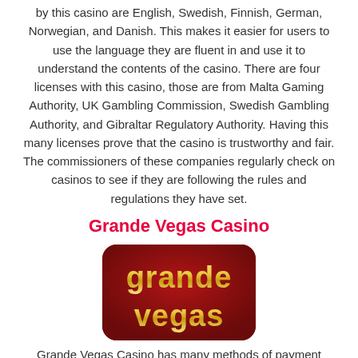by this casino are English, Swedish, Finnish, German, Norwegian, and Danish. This makes it easier for users to use the language they are fluent in and use it to understand the contents of the casino. There are four licenses with this casino, those are from Malta Gaming Authority, UK Gambling Commission, Swedish Gambling Authority, and Gibraltar Regulatory Authority. Having this many licenses prove that the casino is trustworthy and fair. The commissioners of these companies regularly check on casinos to see if they are following the rules and regulations they have set.
Grande Vegas Casino
[Figure (logo): Grande Vegas casino logo — dark red rounded rectangle with gold and white stylized text reading 'grande vegas']
Grande Vegas Casino has many methods of payment which